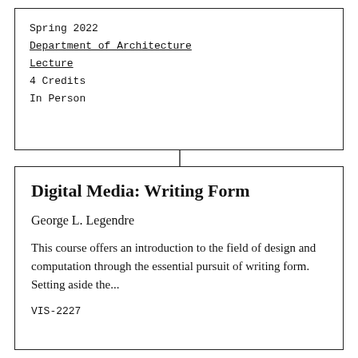Spring 2022
Department of Architecture
Lecture
4 Credits
In Person
Digital Media: Writing Form
George L. Legendre
This course offers an introduction to the field of design and computation through the essential pursuit of writing form. Setting aside the...
VIS-2227